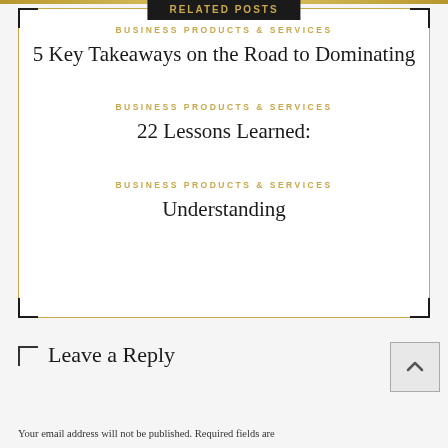RELATED POSTS
BUSINESS PRODUCTS & SERVICES
5 Key Takeaways on the Road to Dominating
BUSINESS PRODUCTS & SERVICES
22 Lessons Learned:
BUSINESS PRODUCTS & SERVICES
Understanding
Leave a Reply
Your email address will not be published. Required fields are